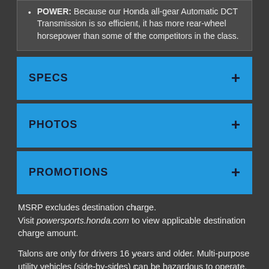POWER: Because our Honda all-gear Automatic DCT Transmission is so efficient, it has more rear-wheel horsepower than some of the competitors in the class.
SPECS
PHOTOS
PROMOTIONS
MSRP excludes destination charge.
Visit powersports.honda.com to view applicable destination charge amount.
Talons are only for drivers 16 years and older. Multi-purpose utility vehicles (side-by-sides) can be hazardous to operate. For your safety, drive responsibly. Always wear a helmet, eye protection and appropriate clothing. Always wear your seat belt, and keep the side nets and